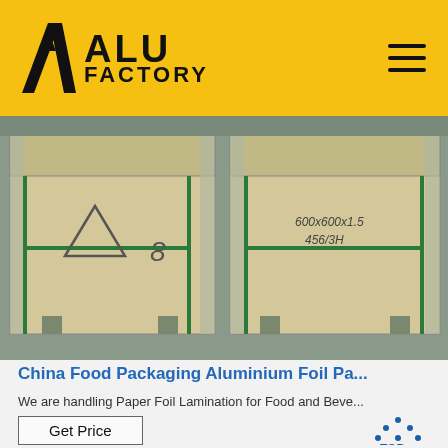ALU FACTORY
[Figure (photo): Two large wooden crates/boxes with metal strapping, stored in a warehouse. Left crate has handwritten markings with a triangle symbol and the number 8. Right crate has handwritten text reading dimensions like 600x600x1.5 and 456/3H.]
China Food Packaging Aluminium Foil Pa...
We are handling Paper Foil Lamination for Food and Beve...
Get Price
[Figure (photo): Partial view of industrial machinery or equipment, bottom strip of the page.]